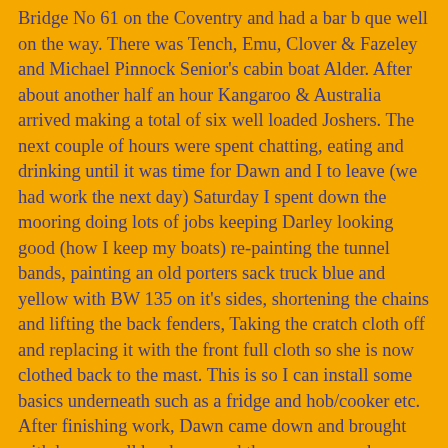Bridge No 61 on the Coventry and had a bar b que well on the way.  There was Tench, Emu, Clover & Fazeley and Michael Pinnock Senior's cabin boat Alder.  After about another half an hour Kangaroo & Australia arrived making a total of six well loaded Joshers.  The next couple of hours were spent chatting, eating and drinking until it was time for Dawn and I to leave (we had work the next day)  Saturday I spent down the mooring doing lots of jobs keeping Darley looking good (how I keep my boats) re-painting the tunnel bands, painting an old porters sack truck blue and yellow with BW 135 on it's sides, shortening the chains and lifting the back fenders, Taking the cratch cloth off and replacing it with the front full cloth so she is now clothed back to the mast.  This is so I can install some basics underneath such as a fridge and hob/cooker etc.  After finishing work, Dawn came down and brought with her a small bar b que and the necessary cobs, burgers, sausages, chicken and salad.   I mask taped the bows off and Dawn set about re-painting the panels, well the wharf side it was left to me to hang over the off